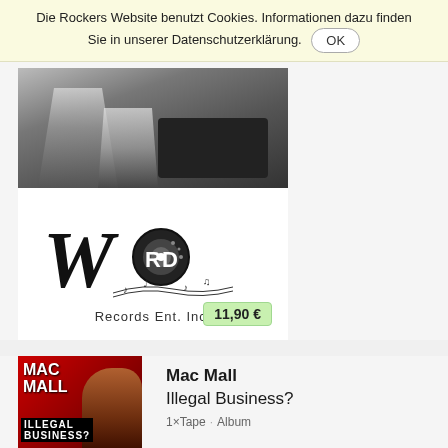Die Rockers Website benutzt Cookies. Informationen dazu finden Sie in unserer Datenschutzerklärung. OK
[Figure (photo): Top portion: black and white photo of people with equipment. Bottom portion: Word Records Ent. Inc. logo with vinyl record graphic and musical notes. Price badge showing 11,90 €]
[Figure (photo): Mac Mall - Illegal Business? album cover with red background and artist silhouette]
Mac Mall
Illegal Business?
1×Tape · Album